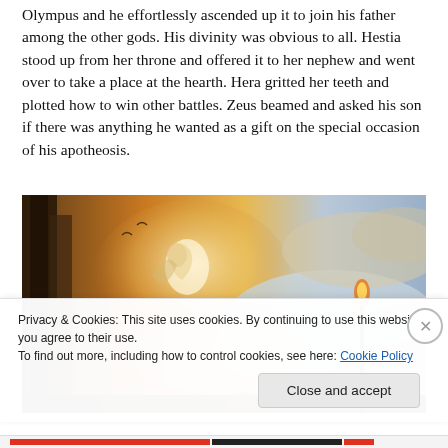Olympus and he effortlessly ascended up it to join his father among the other gods. His divinity was obvious to all. Hestia stood up from her throne and offered it to her nephew and went over to take a place at the hearth. Hera gritted her teeth and plotted how to win other battles. Zeus beamed and asked his son if there was anything he wanted as a gift on the special occasion of his apotheosis.
[Figure (illustration): A classical baroque-style painting depicting a divine scene with figures ascending through clouds, with warm golden light and dramatic sky. A torch or staff is visible on the right side.]
Privacy & Cookies: This site uses cookies. By continuing to use this website, you agree to their use.
To find out more, including how to control cookies, see here: Cookie Policy
Close and accept